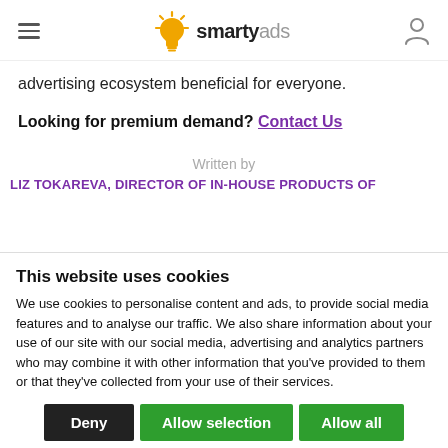SmartyAds logo and navigation
advertising ecosystem beneficial for everyone.
Looking for premium demand? Contact Us
Written by
LIZ TOKAREVA, DIRECTOR OF IN-HOUSE PRODUCTS OF
This website uses cookies
We use cookies to personalise content and ads, to provide social media features and to analyse our traffic. We also share information about your use of our site with our social media, advertising and analytics partners who may combine it with other information that you've provided to them or that they've collected from your use of their services.
Deny | Allow selection | Allow all
Necessary  Preferences  Statistics  Marketing  Show details